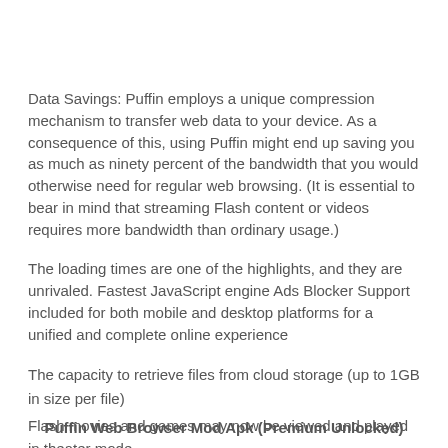Data Savings: Puffin employs a unique compression mechanism to transfer web data to your device. As a consequence of this, using Puffin might end up saving you as much as ninety percent of the bandwidth that you would otherwise need for regular web browsing. (It is essential to bear in mind that streaming Flash content or videos requires more bandwidth than ordinary usage.)
The loading times are one of the highlights, and they are unrivaled. Fastest JavaScript engine Ads Blocker Support included for both mobile and desktop platforms for a unified and complete online experience
The capacity to retrieve files from cloud storage (up to 1GB in size per file)
Flash movies and games may now be viewed and played in theater mode.
Virtual Trackpad & Gamepad
Help from Adobe Flash (support)
Puffin Web Browser Mod Apk (Premium Unlocked)